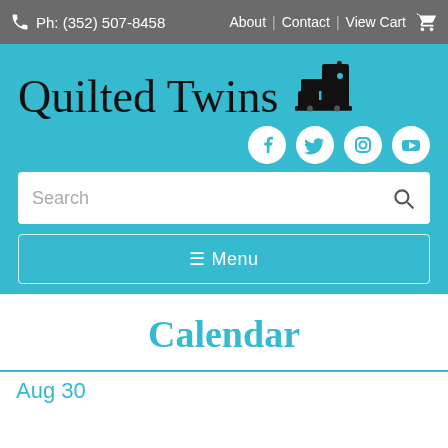Ph: (352) 507-8458   About | Contact | View Cart
Quilted Twins
[Figure (logo): Sewing machine silhouette icon next to the Quilted Twins brand name]
[Figure (infographic): Social media icons: Facebook, Twitter, Instagram, YouTube]
Search
☰ Menu
Calendar
Aug 30